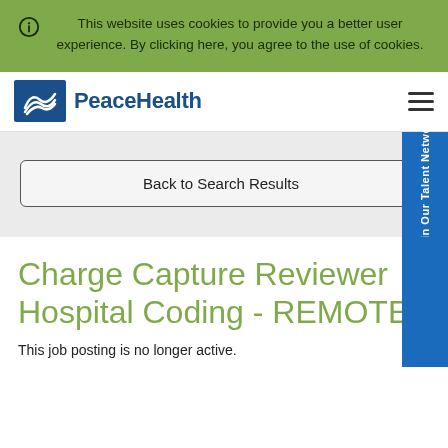This website uses cookies to provide you a better user experience. By clicking here, you agree to the use of cookies.
[Figure (logo): PeaceHealth logo with blue dove/wave icon and blue text]
Back to Search Results
Join Our Talent Network
Charge Capture Reviewer Hospital Coding - REMOTE
This job posting is no longer active.